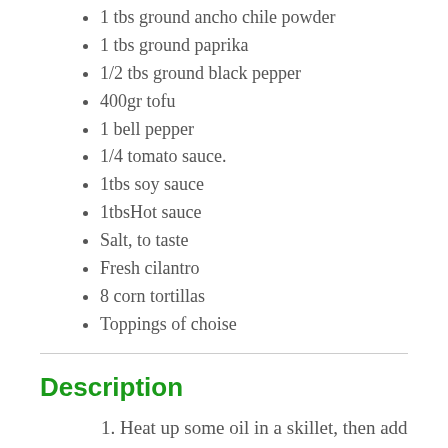1 tbs ground ancho chile powder
1 tbs ground paprika
1/2 tbs ground black pepper
400gr tofu
1 bell pepper
1/4 tomato sauce.
1tbs soy sauce
1tbsHot sauce
Salt, to taste
Fresh cilantro
8 corn tortillas
Toppings of choise
Description
Heat up some oil in a skillet, then add diced onion. Cook the onion for 5 minutes or so, until it begins to soften up.